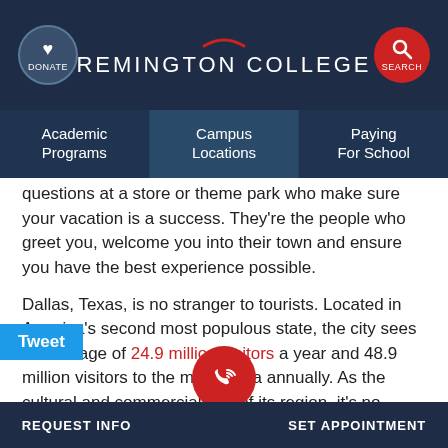REMINGTON COLLEGE
[Figure (screenshot): Navigation bar with Academic Programs, Campus Locations, Paying For School]
questions at a store or theme park who make sure your vacation is a success. They're the people who greet you, welcome you into their town and ensure you have the best experience possible.
Dallas, Texas, is no stranger to tourists. Located in America's second most populous state, the city sees an average of 24.9 million visitors a year and 48.9 million visitors to the metro area annually. As the cultural and commercial hub of its region, it's no Dallas is seeing growth. In fact, Dallas'
REQUEST INFO | SET APPOINTMENT